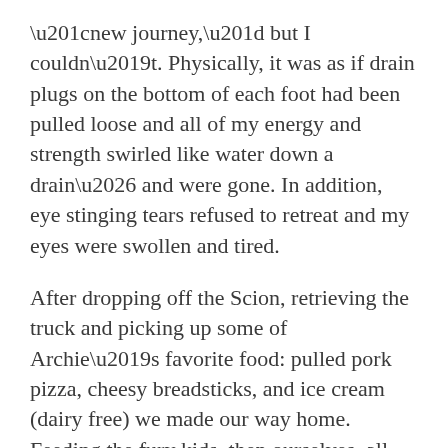“new journey,” but I couldn’t. Physically, it was as if drain plugs on the bottom of each foot had been pulled loose and all of my energy and strength swirled like water down a drain… and were gone. In addition, eye stinging tears refused to retreat and my eyes were swollen and tired.
After dropping off the Scion, retrieving the truck and picking up some of Archie’s favorite food: pulled pork pizza, cheesy breadsticks, and ice cream (dairy free) we made our way home. Feeding the fury kids, then ourselves, all five of us jumped on my pull out sofa, settled in and…fell a sleep, relieved we had made it through birthday number two.
After a bit, I woke up, let the fury kids out and tucked them into bed. Taylor trudged off to